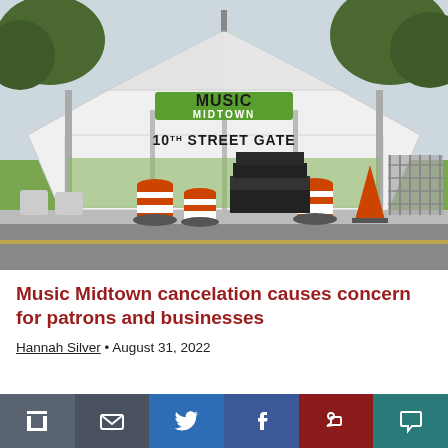[Figure (photo): A white event tent with the 'Music Midtown' logo and '10TH STREET GATE' text. Orange traffic barrels and cones are in the foreground along with stacked black equipment/crates and metal fencing to the right. Trees and a park green space are visible in the background.]
Music Midtown cancelation causes concern for patrons and businesses
Hannah Silver • August 31, 2022